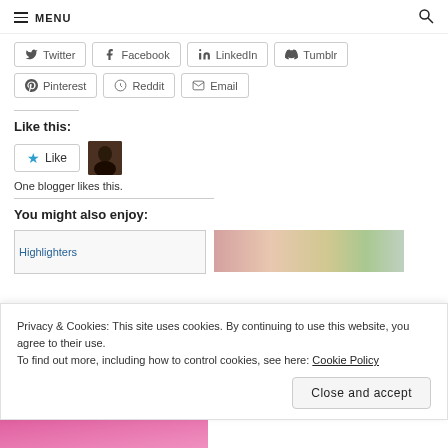MENU
Twitter | Facebook | LinkedIn | Tumblr | Pinterest | Reddit | Email
Like this:
One blogger likes this.
You might also enjoy:
[Figure (photo): Highlighters thumbnail image]
[Figure (photo): Colored pencils and flower thumbnail]
Privacy & Cookies: This site uses cookies. By continuing to use this website, you agree to their use. To find out more, including how to control cookies, see here: Cookie Policy
Close and accept